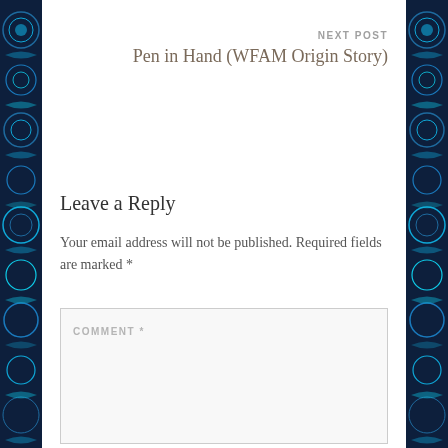NEXT POST
Pen in Hand (WFAM Origin Story)
Leave a Reply
Your email address will not be published. Required fields are marked *
COMMENT *